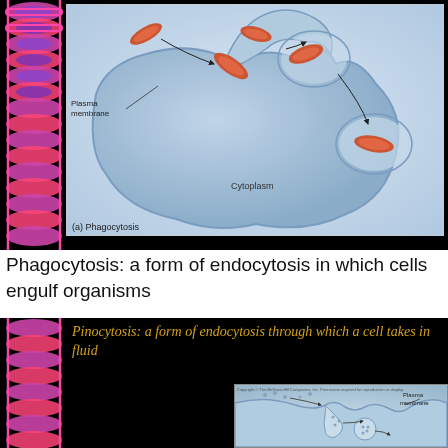[Figure (illustration): Phagocytosis diagram showing a cell's plasma membrane engulfing rod-shaped bacteria (organisms) via endocytosis, with labels for 'Plasma membrane', 'Cytoplasm', and caption '(a) Phagocytosis'. Left side has decorative DNA double helix strip.]
Phagocytosis: a form of endocytosis in which cells engulf organisms
[Figure (illustration): Pinocytosis slide with black background and DNA strip on left. Text in gold italic reads 'Pinocytosis: a form of endocytosis through which a cell takes in fluid'. A small diagram at bottom right shows plasma membrane invaginating to take in fluid droplets, with label 'Plasma membrane'.]